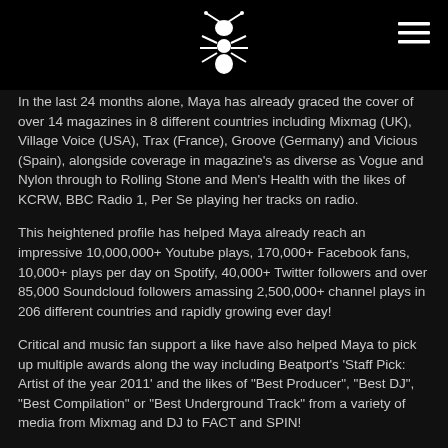[Logo: ant icon] [Menu icon]
In the last 24 months alone, Maya has already graced the cover of over 14 magazines in 8 different countries including Mixmag (UK), Village Voice (USA), Trax (France), Groove (Germany) and Vicious (Spain), alongside coverage in magazine's as diverse as Vogue and Nylon through to Rolling Stone and Men's Health with the likes of KCRW, BBC Radio 1, Per Se playing her tracks on radio.
This heightened profile has helped Maya already reach an impressive 10,000,000+ Youtube plays, 170,000+ Facebook fans, 10,000+ plays per day on Spotify, 40,000+ Twitter followers and over 85,000 Soundcloud followers amassing 2,500,000+ channel plays in 206 different countries and rapidly growing ever day!
Critical and music fan support a like have also helped Maya to pick up multiple awards along the way including Beatport's 'Staff Pick: Artist of the year 2011' and the likes of "Best Producer", "Best DJ", "Best Compilation" or "Best Underground Track" from a variety of media from Mixmag and DJ to FACT and SPIN!
So why all the fuss? Well, Maya is somewhat of an enigma in today's